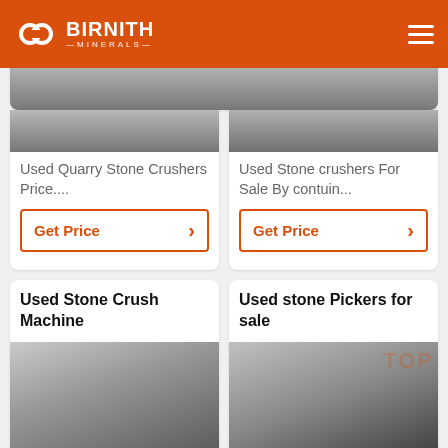BIRNITH MINERALS
[Figure (photo): Partial top image of used quarry stone crusher]
Used Quarry Stone Crushers Price....
Get Price
[Figure (photo): Partial top image of used stone crusher]
Used Stone crushers For Sale By contuin...
Get Price
Used Stone Crush Machine
[Figure (photo): Industrial stone crushing machine in a large factory warehouse]
Used Stone Crusher Machine In Canada
Used stone Pickers for sale
[Figure (photo): Large industrial stone picking machine in a factory setting]
Please find below all current ads of used